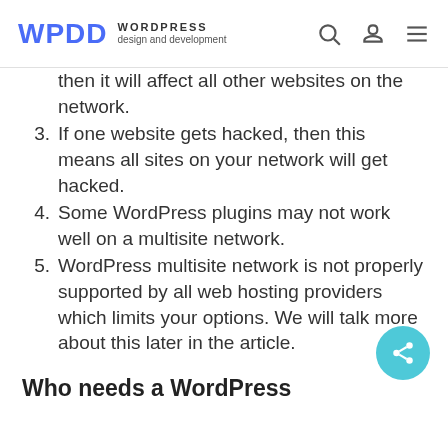WPDD WORDPRESS design and development
then it will affect all other websites on the network.
3. If one website gets hacked, then this means all sites on your network will get hacked.
4. Some WordPress plugins may not work well on a multisite network.
5. WordPress multisite network is not properly supported by all web hosting providers which limits your options. We will talk more about this later in the article.
Who needs a WordPress